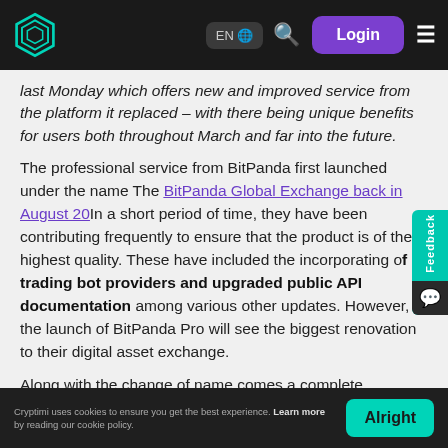EN | Login
last Monday which offers new and improved service from the platform it replaced – with there being unique benefits for users both throughout March and far into the future.
The professional service from BitPanda first launched under the name The BitPanda Global Exchange back in August 20[19]. In a short period of time, they have been contributing frequently to ensure that the product is of the highest quality. These have included the incorporating of trading bot providers and upgraded public API documentation among various other updates. However, the launch of BitPanda Pro will see the biggest renovation to their digital asset exchange.
Along with the change of name comes a complete repositioning of how the platform will function and as of last
Cryptimi uses cookies to ensure you get the best experience. Learn more by reading our cookie policy. Alright